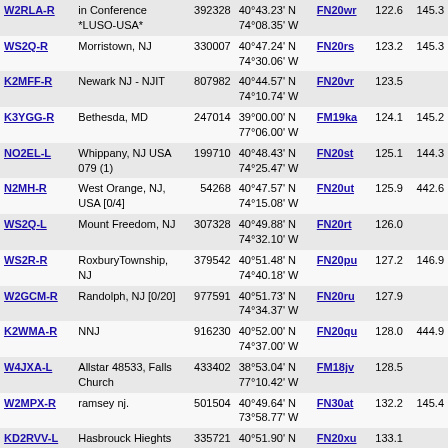| Call | Location | Freq | Coordinates | Grid | D1 | D2 |
| --- | --- | --- | --- | --- | --- | --- |
| W2RLA-R | in Conference *LUSO-USA* | 392328 | 40°43.23' N 74°08.35' W | FN20wr | 122.6 | 145.3 |
| WS2Q-R | Morristown, NJ | 330007 | 40°47.24' N 74°30.06' W | FN20rs | 123.2 | 145.3 |
| K2MFF-R | Newark NJ - NJIT | 807982 | 40°44.57' N 74°10.74' W | FN20vr | 123.5 |  |
| K3YGG-R | Bethesda, MD | 247014 | 39°00.00' N 77°06.00' W | FM19ka | 124.1 | 145.2 |
| NO2EL-L | Whippany, NJ USA 079 (1) | 199710 | 40°48.43' N 74°25.47' W | FN20st | 125.1 | 144.3 |
| N2MH-R | West Orange, NJ, USA [0/4] | 54268 | 40°47.57' N 74°15.08' W | FN20ut | 125.9 | 442.6 |
| WS2Q-L | Mount Freedom, NJ | 307328 | 40°49.88' N 74°32.10' W | FN20rt | 126.0 |  |
| WS2R-R | RoxburyTownship, NJ | 379542 | 40°51.48' N 74°40.18' W | FN20pu | 127.2 | 146.9 |
| W2GCM-R | Randolph, NJ [0/20] | 977591 | 40°51.73' N 74°34.37' W | FN20ru | 127.9 |  |
| K2WMA-R | NNJ | 916230 | 40°52.00' N 74°37.00' W | FN20qu | 128.0 | 444.9 |
| W4JXA-L | Allstar 48533, Falls Church | 433402 | 38°53.04' N 77°10.42' W | FM18jv | 128.5 |  |
| W2MPX-R | ramsey nj. | 501504 | 40°49.64' N 73°58.77' W | FN30at | 132.2 | 145.4 |
| KD2RVV-L | Hasbrouck Hieghts NJ [0/20] | 335721 | 40°51.90' N 74°04.52' W | FN20xu | 133.1 |  |
| K2CSX-L | New York Central | 600864 | 40°49.00' N | FN30bt | 133.2 |  |